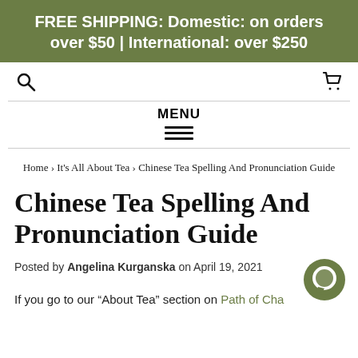FREE SHIPPING: Domestic: on orders over $50 | International: over $250
Home › It's All About Tea › Chinese Tea Spelling And Pronunciation Guide
Chinese Tea Spelling And Pronunciation Guide
Posted by Angelina Kurganska on April 19, 2021
If you go to our "About Tea" section on Path of Cha